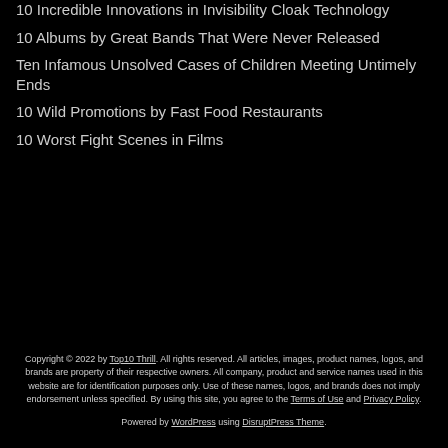10 Incredible Innovations in Invisibility Cloak Technology
10 Albums by Great Bands That Were Never Released
Ten Infamous Unsolved Cases of Children Meeting Untimely Ends
10 Wild Promotions by Fast Food Restaurants
10 Worst Fight Scenes in Films
Copyright © 2022 by Top10 Thrill. All rights reserved. All articles, images, product names, logos, and brands are property of their respective owners. All company, product and service names used in this website are for identification purposes only. Use of these names, logos, and brands does not imply endorsement unless specified. By using this site, you agree to the Terms of Use and Privacy Policy. Powered by WordPress using DisruptPress Theme.